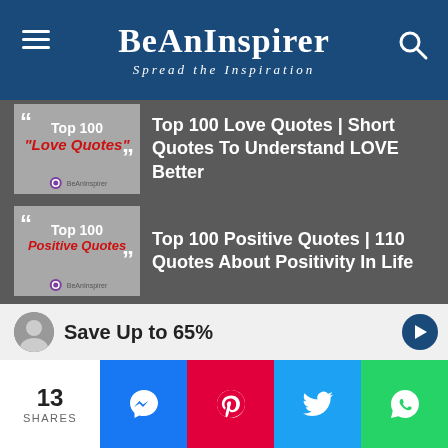BeAnInspirer — Spread the Inspiration
[Figure (screenshot): Thumbnail image for Top 100 Love Quotes article — gray background with large quotation marks and red italic text reading Love Quotes]
Top 100 Love Quotes | Short Quotes To Understand LOVE Better
[Figure (screenshot): Thumbnail image for Top 100 Positive Quotes article — gray background with large quotation marks and red italic text reading Positive Quotes]
Top 100 Positive Quotes | 110 Quotes About Positivity In Life
Quotes Library
[Figure (screenshot): Thumbnail for Quote Of The Day article — dark gradient background with gold text reading Quote Of The Day!]
Quote Of The Day – Inspirational Quotes for the
Save Up to 65%
13
SHARES